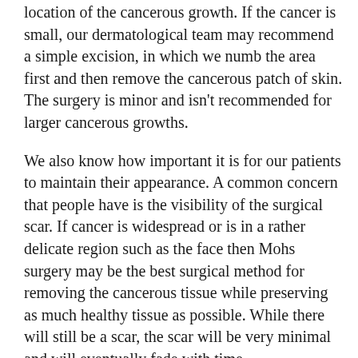location of the cancerous growth. If the cancer is small, our dermatological team may recommend a simple excision, in which we numb the area first and then remove the cancerous patch of skin. The surgery is minor and isn't recommended for larger cancerous growths.
We also know how important it is for our patients to maintain their appearance. A common concern that people have is the visibility of the surgical scar. If cancer is widespread or is in a rather delicate region such as the face then Mohs surgery may be the best surgical method for removing the cancerous tissue while preserving as much healthy tissue as possible. While there will still be a scar, the scar will be very minimal and will eventually fade with time.
Mohs surgery is a very conservative approach to treating skin cancer. First, one of our dermatologists will remove a thin layer of cancerous tissue. We will examine the tissue under a microscope to look for cancerous cells. We will continue to remove thin layers until cancer cells no longer